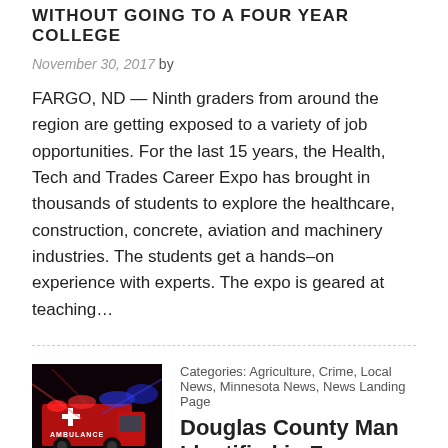WITHOUT GOING TO A FOUR YEAR COLLEGE
November 30, 2017 by
FARGO, ND — Ninth graders from around the region are getting exposed to a variety of job opportunities. For the last 15 years, the Health, Tech and Trades Career Expo has brought in thousands of students to explore the healthcare, construction, concrete, aviation and machinery industries. The students get a hands–on experience with experts. The expo is geared at teaching…
[Figure (photo): Ambulance with flashing red and blue lights at night]
Categories: Agriculture, Crime, Local News, Minnesota News, News Landing Page
Douglas County Man Identified in Farm Accident
TODD WUNDERLICH SURVIVED HAVING HIS ARM PINNED IN A CORN PICKER FOR OVER AN